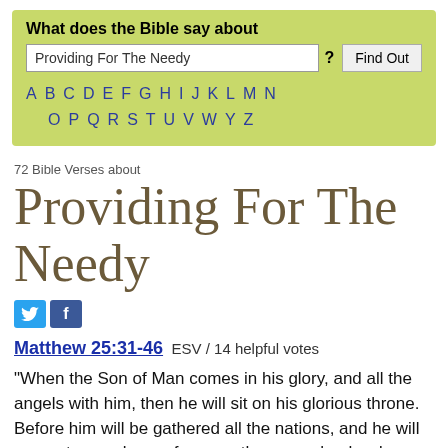[Figure (screenshot): Search widget with green background: 'What does the Bible say about' label, text input with 'Providing For The Needy', a '?' and 'Find Out' button, and an alphabetical A-Z navigation row]
72 Bible Verses about
Providing For The Needy
[Figure (other): Twitter and Facebook social share buttons]
Matthew 25:31-46 ESV / 14 helpful votes
“When the Son of Man comes in his glory, and all the angels with him, then he will sit on his glorious throne. Before him will be gathered all the nations, and he will separate people one from another as a shepherd separates the sheep from the goats. And he will place